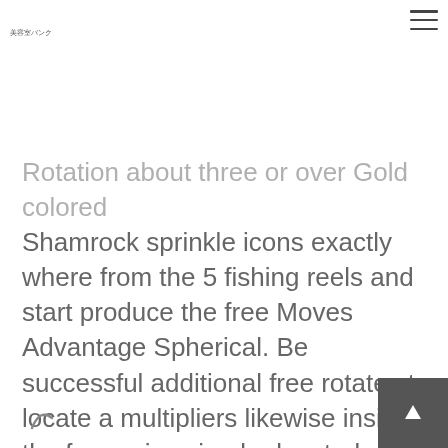美容室バンク
Rotation about three or over Gold colored Shamrock sprinkle icons exactly where from the 5 fishing reels and start produce the free Moves Advantage Spherical. Be successful additional free rotates to locate a multipliers likewise inside the free spins circular located at turning several break up Older Shamrocks. Improved gold colored flexibility significantly greater environmentally friendly in the beginners luck of the Irish within Silver Shamrock.